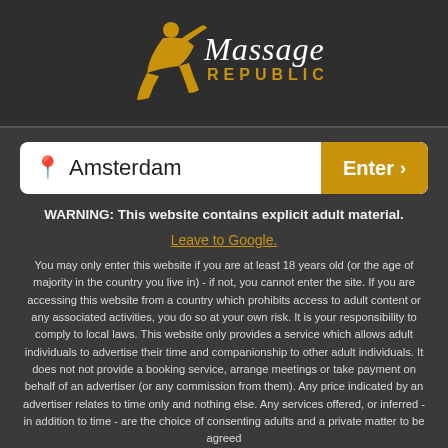[Figure (logo): Massage Republic logo with gold figure and text]
Amsterdam  Enter >
WARNING: This website contains explicit adult material.
Leave to Google.
You may only enter this website if you are at least 18 years old (or the age of majority in the country you live in) - if not, you cannot enter the site. If you are accessing this website from a country which prohibits access to adult content or any associated activities, you do so at your own risk. It is your responsibility to comply to local laws. This website only provides a service which allows adult individuals to advertise their time and companionship to other adult individuals. It does not not provide a booking service, arrange meetings or take payment on behalf of an advertiser (or any commission from them). Any price indicated by an advertiser relates to time only and nothing else. Any services offered, or inferred - in addition to time - are the choice of consenting adults and a private matter to be agreed